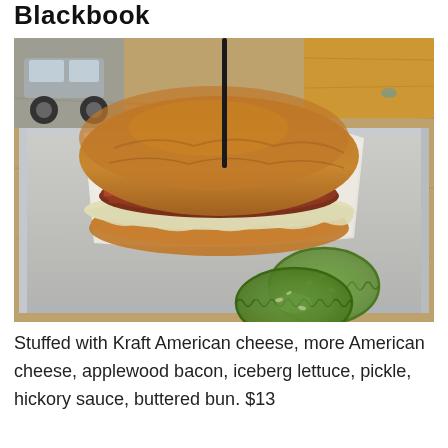Blackbook
[Figure (photo): A burger stuffed with cheese and applewood bacon on a white paper wrapper, served on a metal tray with two pickle slices on the side. The burger has a toasted brioche bun and is set on a wooden surface.]
Stuffed with Kraft American cheese, more American cheese, applewood bacon, iceberg lettuce, pickle, hickory sauce, buttered bun. $13